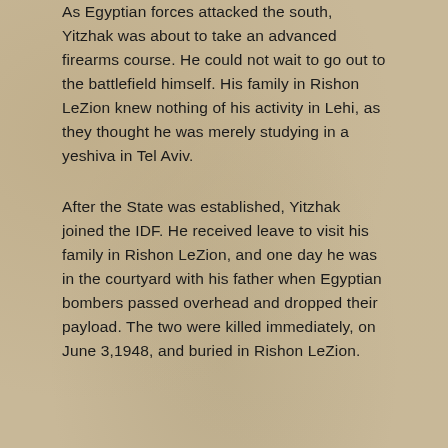As Egyptian forces attacked the south, Yitzhak was about to take an advanced firearms course. He could not wait to go out to the battlefield himself. His family in Rishon LeZion knew nothing of his activity in Lehi, as they thought he was merely studying in a yeshiva in Tel Aviv.
After the State was established, Yitzhak joined the IDF. He received leave to visit his family in Rishon LeZion, and one day he was in the courtyard with his father when Egyptian bombers passed overhead and dropped their payload. The two were killed immediately, on June 3, 1948, and buried in Rishon LeZion.